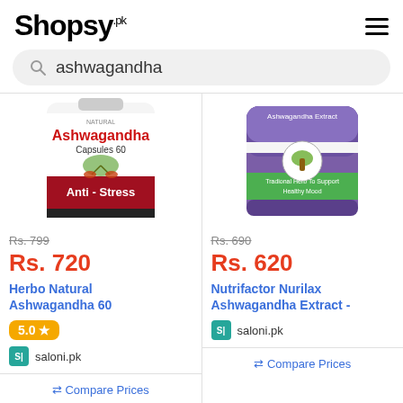Shopsy.pk
ashwagandha
[Figure (photo): Herbo Natural Ashwagandha 60 Capsules Anti-Stress product bottle with red label and plant image]
Rs. 799
Rs. 720
Herbo Natural Ashwagandha 60
5.0 ★
saloni.pk
[Figure (photo): Nutrifactor Nurilax Ashwagandha Extract supplement bottle with purple label]
Rs. 690
Rs. 620
Nutrifactor Nurilax Ashwagandha Extract -
saloni.pk
⇄ Compare Prices
⇄ Compare Prices